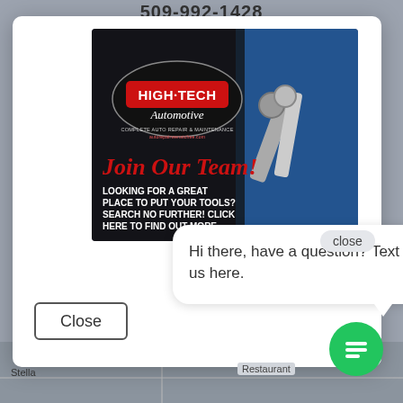509-992-1428
[Figure (screenshot): High-Tech Automotive advertisement showing logo, mechanic holding wrenches, 'Join Our Team!' headline, and recruitment text over a dark background]
close
Hi there, have a question? Text us here.
Close